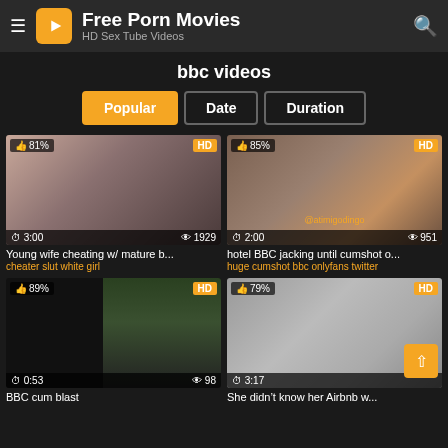Free Porn Movies - HD Sex Tube Videos
bbc videos
Popular | Date | Duration
[Figure (screenshot): Video thumbnail 1: 81% rating, HD, 3:00 duration, 1929 views. Young wife cheating w/ mature b...]
Young wife cheating w/ mature b...
cheater slut white girl
[Figure (screenshot): Video thumbnail 2: 85% rating, HD, 2:00 duration, 951 views. hotel BBC jacking until cumshot o...]
hotel BBC jacking until cumshot o...
huge cumshot bbc onlyfans twitter
[Figure (screenshot): Video thumbnail 3: 89% rating, HD, 0:53 duration, 98 views. BBC cum blast]
BBC cum blast
[Figure (screenshot): Video thumbnail 4: 79% rating, HD, 3:17 duration. She didn't know her Airbnb w...]